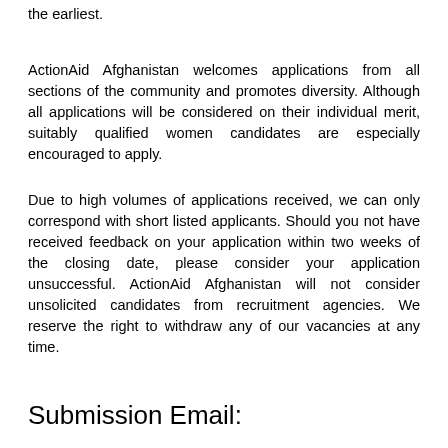the earliest.
ActionAid Afghanistan welcomes applications from all sections of the community and promotes diversity. Although all applications will be considered on their individual merit, suitably qualified women candidates are especially encouraged to apply.
Due to high volumes of applications received, we can only correspond with short listed applicants. Should you not have received feedback on your application within two weeks of the closing date, please consider your application unsuccessful. ActionAid Afghanistan will not consider unsolicited candidates from recruitment agencies. We reserve the right to withdraw any of our vacancies at any time.
Submission Email: